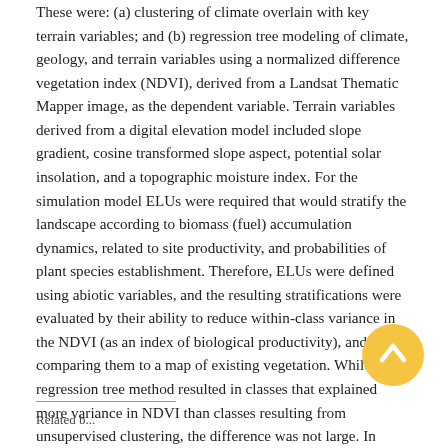These were: (a) clustering of climate overlain with key terrain variables; and (b) regression tree modeling of climate, geology, and terrain variables using a normalized difference vegetation index (NDVI), derived from a Landsat Thematic Mapper image, as the dependent variable. Terrain variables derived from a digital elevation model included slope gradient, cosine transformed slope aspect, potential solar insolation, and a topographic moisture index. For the simulation model ELUs were required that would stratify the landscape according to biomass (fuel) accumulation dynamics, related to site productivity, and probabilities of plant species establishment. Therefore, ELUs were defined using abiotic variables, and the resulting stratifications were evaluated by their ability to reduce within-class variance in the NDVI (as an index of biological productivity), and by comparing them to a map of existing vegetation. While the regression tree method resulted in classes that explained more variance in NDVI than classes resulting from unsupervised clustering, the difference was not large. In contrast, the unsupervised approach resulted in ecological land classes that were more strongly related to existing vegetation patterns.
[Figure (other): Scroll-to-top circular yellow button with upward chevron arrow, overlapping the bottom-right corner of the text.]
Related b...